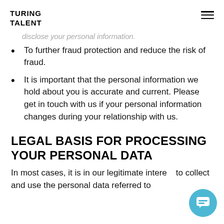TURING TALENT
…disclose your personal information.
To further fraud protection and reduce the risk of fraud.
It is important that the personal information we hold about you is accurate and current. Please get in touch with us if your personal information changes during your relationship with us.
LEGAL BASIS FOR PROCESSING YOUR PERSONAL DATA
In most cases, it is in our legitimate interest to collect and use the personal data referred to